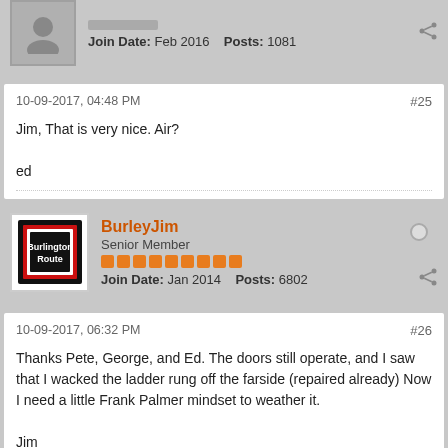Join Date: Feb 2016   Posts: 1081
10-09-2017, 04:48 PM  #25
Jim, That is very nice. Air?

ed
BurleyJim
Senior Member
Join Date: Jan 2014   Posts: 6802
10-09-2017, 06:32 PM  #26
Thanks Pete, George, and Ed. The doors still operate, and I saw that I wacked the ladder rung off the farside (repaired already) Now I need a little Frank Palmer mindset to weather it.

Jim
Take the red pill